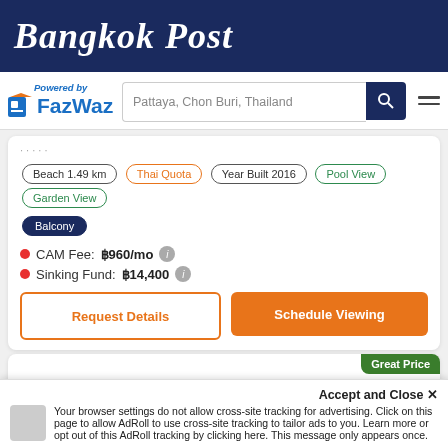Bangkok Post
[Figure (logo): FazWaz logo with search bar showing 'Pattaya, Chon Buri, Thailand']
Beach 1.49 km
Thai Quota
Year Built 2016
Pool View
Garden View
Balcony
CAM Fee: ฿960/mo
Sinking Fund: ฿14,400
Request Details
Schedule Viewing
The Glory Pattaya
฿9,438,000 (฿148,000/SqM)
Nong Prue, Pattaya
Accept and Close ✕
Your browser settings do not allow cross-site tracking for advertising. Click on this page to allow AdRoll to use cross-site tracking to tailor ads to you. Learn more or opt out of this AdRoll tracking by clicking here. This message only appears once.